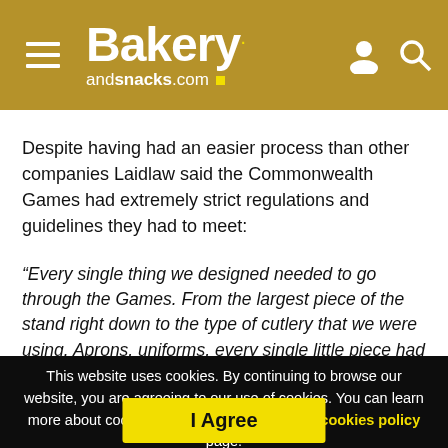Bakery andsnacks.com
Despite having had an easier process than other companies Laidlaw said the Commonwealth Games had extremely strict regulations and guidelines they had to meet:
“Every single thing we designed needed to go through the Games. From the largest piece of the stand right down to the type of cutlery that we were using. Aprons, uniforms, every single little piece had to be signed off by the Games,” Laidlaw added.
This website uses cookies. By continuing to browse our website, you are agreeing to our use of cookies. You can learn more about cookies by visiting our privacy & cookies policy page.
I Agree